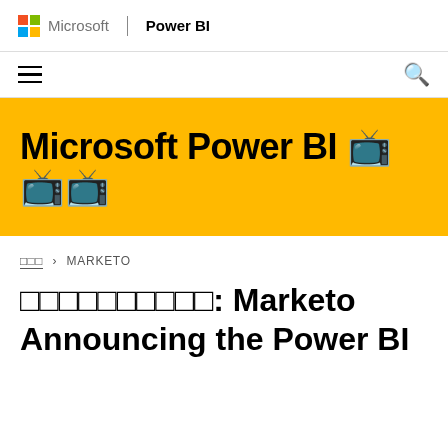Microsoft | Power BI
[Figure (screenshot): Navigation bar with hamburger menu icon on left and search icon on right]
Microsoft Power BI 블로그
블로그 > MARKETO
커넥터 업데이트: Marketo
Announcing the Power BI